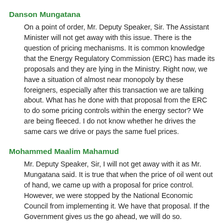Danson Mungatana
On a point of order, Mr. Deputy Speaker, Sir. The Assistant Minister will not get away with this issue. There is the question of pricing mechanisms. It is common knowledge that the Energy Regulatory Commission (ERC) has made its proposals and they are lying in the Ministry. Right now, we have a situation of almost near monopoly by these foreigners, especially after this transaction we are talking about. What has he done with that proposal from the ERC to do some pricing controls within the energy sector? We are being fleeced. I do not know whether he drives the same cars we drive or pays the same fuel prices.
Mohammed Maalim Mahamud
Mr. Deputy Speaker, Sir, I will not get away with it as Mr. Mungatana said. It is true that when the price of oil went out of hand, we came up with a proposal for price control. However, we were stopped by the National Economic Council from implementing it. We have that proposal. If the Government gives us the go ahead, we will do so.
Charles Kilonzo
On a point of order, Mr. Deputy Speaker, Sir. Is the Assistant